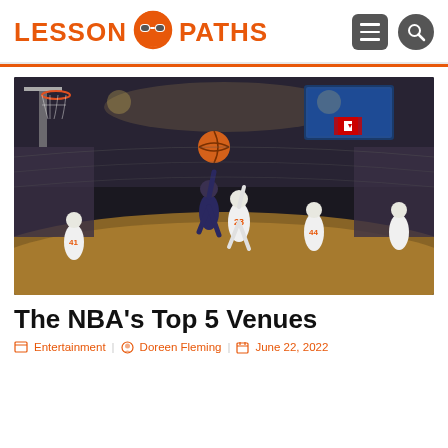LESSON PATHS
[Figure (photo): Basketball game action shot inside a large NBA arena. A player in a dark uniform is shooting over a defender wearing number 23 in white. Other players with numbers 41, 23, 44 visible on court. Wide-angle fisheye view of the arena showing full crowd, scoreboard screens, and Canadian flag in rafters.]
The NBA's Top 5 Venues
Entertainment | Doreen Fleming | June 22, 2022